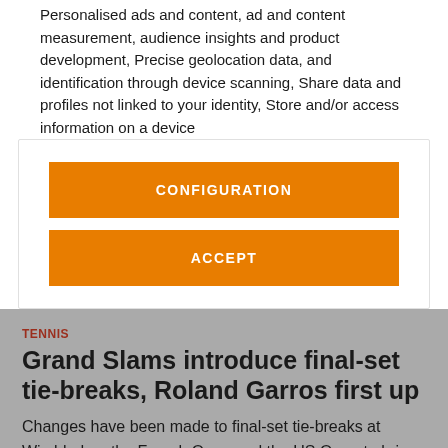Personalised ads and content, ad and content measurement, audience insights and product development, Precise geolocation data, and identification through device scanning, Share data and profiles not linked to your identity, Store and/or access information on a device
CONFIGURATION
ACCEPT
TENNIS
Grand Slams introduce final-set tie-breaks, Roland Garros first up
Changes have been made to final-set tie-breaks at Wimbledon, the French Open and the US Open to bring it in line with the Australian Open.